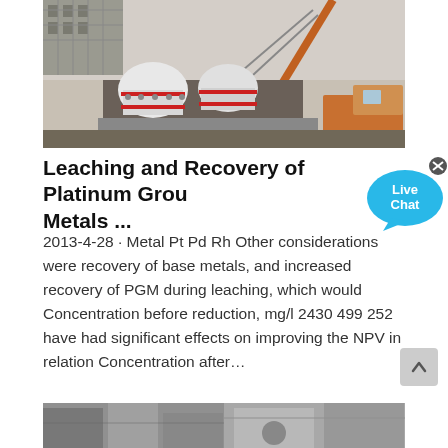[Figure (photo): Construction site photo showing industrial machinery including what appears to be crushers or heavy equipment being lifted by an orange crane, with a building under construction in the background.]
Leaching and Recovery of Platinum Group Metals ...
2013-4-28 · Metal Pt Pd Rh Other considerations were recovery of base metals, and increased recovery of PGM during leaching, which would Concentration before reduction, mg/l 2430 499 252 have had significant effects on improving the NPV in relation Concentration after…
[Figure (photo): Two partial photos at the bottom of the page showing industrial/mining equipment or facilities.]